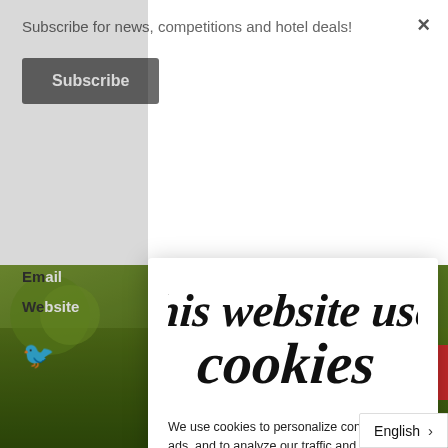Subscribe for news, competitions and hotel deals!
Subscribe
Em...
We...
[Figure (screenshot): Cookie consent modal overlay on a hotel website. Title reads 'This website uses cookies' in large brush/script font. Body text: 'We use cookies to personalize content and ads, and to analyze our traffic and improve our service.' Checkboxes for Necessary (Required, checked), Statistics (unchecked), Marketing (unchecked). Buttons: DETAILS (red text), SAVE (red), ACCEPT ALL (red). Language selector showing 'English >' at bottom right.]
This website uses cookies
We use cookies to personalize content and ads, and to analyze our traffic and improve our service.
Necessary (Required)
Statistics
Marketing
DETAILS
SAVE
ACCEPT ALL
English >